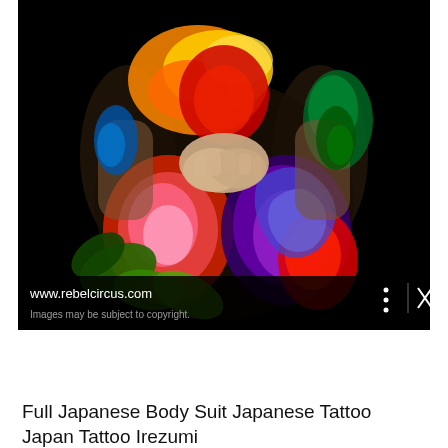[Figure (screenshot): Screenshot of a Google Images result on a mobile device showing a photo of a person with a full Japanese body suit tattoo (irezumi) featuring colorful dragons, flowers, and traditional Japanese motifs in vivid reds, greens, yellows, blues, and purples on a black background. The image viewer shows the source URL 'www.rebelcircus.com' and a note 'Images may be subject to copyright.' At the bottom is the Android navigation bar with back, home, and recents buttons.]
Full Japanese Body Suit Japanese Tattoo Japan Tattoo Irezumi